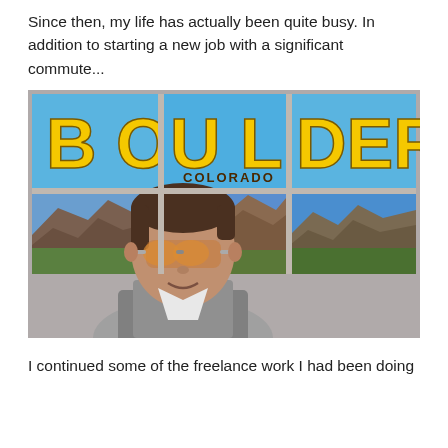Since then, my life has actually been quite busy. In addition to starting a new job with a significant commute...
[Figure (photo): A person wearing orange-tinted aviator sunglasses taking a selfie in front of a large 'BOULDER COLORADO' sign with photos of the Flatirons rock formations.]
I continued some of the freelance work I had been doing